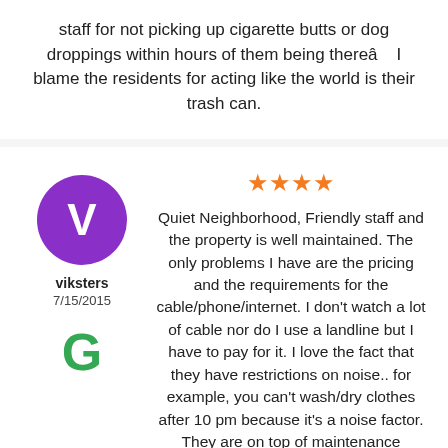staff for not picking up cigarette butts or dog droppings within hours of them being thereâ   I blame the residents for acting like the world is their trash can.
★★★★
viksters
7/15/2015
Quiet Neighborhood, Friendly staff and the property is well maintained. The only problems I have are the pricing and the requirements for the cable/phone/internet. I don't watch a lot of cable nor do I use a landline but I have to pay for it. I love the fact that they have restrictions on noise.. for example, you can't wash/dry clothes after 10 pm because it's a noise factor. They are on top of maintenance requests and are willing to help you with any issues you have. It's pricey but it's what you pay for -- after many years of renting from different